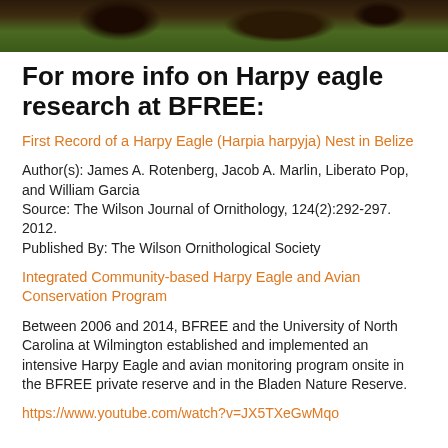[Figure (photo): Photo strip at top showing dark foliage and trees]
For more info on Harpy eagle research at BFREE:
First Record of a Harpy Eagle (Harpia harpyja) Nest in Belize
Author(s): James A. Rotenberg, Jacob A. Marlin, Liberato Pop, and William Garcia
Source: The Wilson Journal of Ornithology, 124(2):292-297. 2012.
Published By: The Wilson Ornithological Society
Integrated Community-based Harpy Eagle and Avian Conservation Program
Between 2006 and 2014, BFREE and the University of North Carolina at Wilmington established and implemented an intensive Harpy Eagle and avian monitoring program onsite in the BFREE private reserve and in the Bladen Nature Reserve.
https://www.youtube.com/watch?v=JX5TXeGwMqo